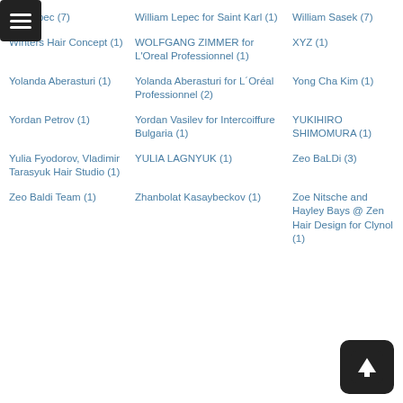am Lepec (7)
William Lepec for Saint Karl (1)
William Sasek (7)
Winters Hair Concept (1)
WOLFGANG ZIMMER for L'Oreal Professionnel (1)
XYZ (1)
Yolanda Aberasturi (1)
Yolanda Aberasturi for L´Oréal Professionnel (2)
Yong Cha Kim (1)
Yordan Petrov (1)
Yordan Vasilev for Intercoiffure Bulgaria (1)
YUKIHIRO SHIMOMURA (1)
Yulia Fyodorov, Vladimir Tarasyuk Hair Studio (1)
YULIA LAGNYUK (1)
Zeo BaLDi (3)
Zeo Baldi Team (1)
Zhanbolat Kasaybeckov (1)
Zoe Nitsche and Hayley Bays @ Zen Hair Design for Clynol (1)